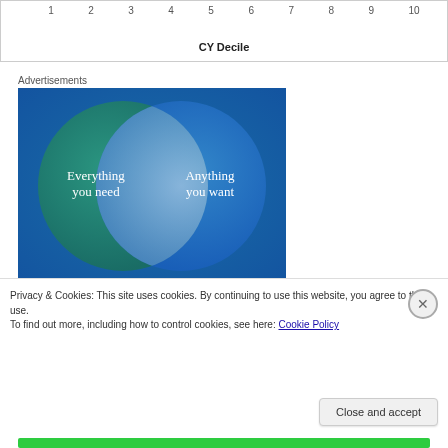[Figure (other): Top portion of a chart showing x-axis with CY Decile label and numbers 1 through 10]
CY Decile
Advertisements
[Figure (infographic): Venn diagram advertisement with two overlapping circles on blue-green gradient background. Left circle labeled 'Everything you need', right circle labeled 'Anything you want', with overlapping region in lighter blue.]
Privacy & Cookies: This site uses cookies. By continuing to use this website, you agree to their use.
To find out more, including how to control cookies, see here: Cookie Policy